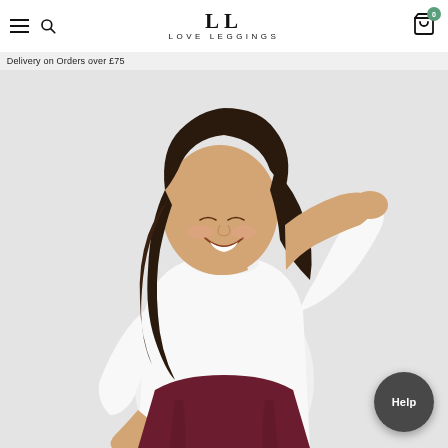LL LOVE LEGGINGS
Delivery on Orders over £75
[Figure (photo): A smiling woman with dark wavy hair wearing a white long-sleeve sweatshirt and dark burgundy/maroon leggings, posed against a light grey background with one hand raised to her head and the other at her hip. A Help button appears in the bottom-right corner of the image.]